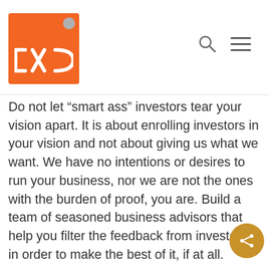CSV logo header with search and menu icons
Do not let “smart ass” investors tear your vision apart. It is about enrolling investors in your vision and not about giving us what we want. We have no intentions or desires to run your business, nor we are not the ones with the burden of proof, you are. Build a team of seasoned business advisors that help you filter the feedback from investors in order to make the best of it, if at all.
So, be selective in your listening, we are not investing in your business, we invest in you.